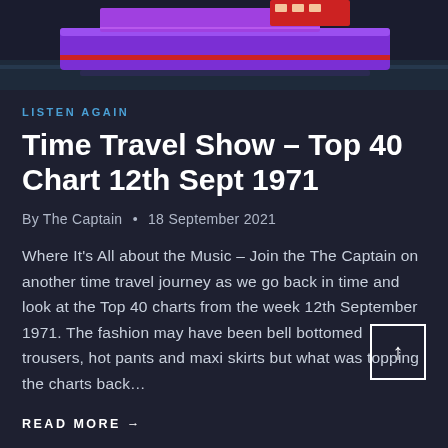[Figure (photo): A large purple and red ship on the ocean, viewed from above/side angle]
LISTEN AGAIN
Time Travel Show – Top 40 Chart 12th Sept 1971
By The Captain • 18 September 2021
Where It's All about the Music – Join the The Captain on another time travel journey as we go back in time and look at the Top 40 charts from the week 12th September 1971. The fashion may have been bell bottomed trousers, hot pants and maxi skirts but what was topping the charts back…
READ MORE →